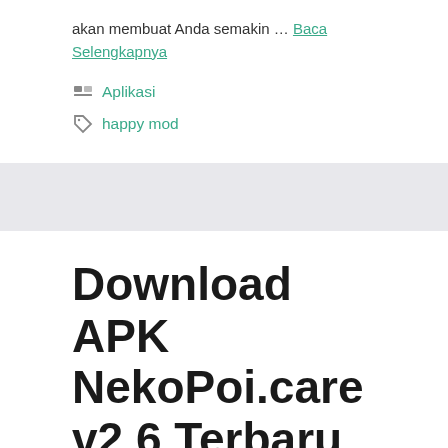akan membuat Anda semakin … Baca Selengkapnya
Aplikasi
happy mod
Download APK NekoPoi.care v2.6 Terbaru 2022
16/08/2022 oleh Admin